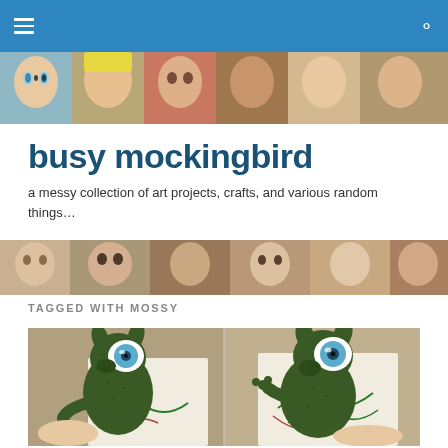busy mockingbird — navigation bar
[Figure (photo): Horizontal banner strip of illustrated portrait faces in various artistic styles]
busy mockingbird
a messy collection of art projects, crafts, and various random things…
[Figure (photo): Second horizontal banner strip of illustrated portrait faces in various artistic styles]
TAGGED WITH MOSSY
[Figure (photo): Two side-by-side photos of a dark green mossy creature/stuffed animal toy with a large blue eye, held by hands against a background with green illustrated drawings]